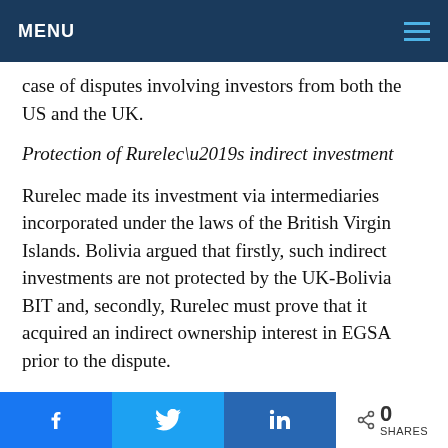MENU
case of disputes involving investors from both the US and the UK.
Protection of Rurelec’s indirect investment
Rurelec made its investment via intermediaries incorporated under the laws of the British Virgin Islands. Bolivia argued that firstly, such indirect investments are not protected by the UK-Bolivia BIT and, secondly, Rurelec must prove that it acquired an indirect ownership interest in EGSA prior to the dispute.
The tribunal decided that Rurelec had made an indirect acquisition of EGSA before the date of
0 SHARES